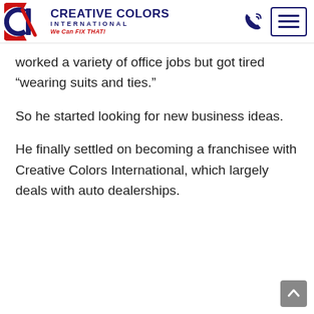[Figure (logo): Creative Colors International logo with CCI emblem (red and navy), company name in navy bold uppercase, tagline 'We Can FIX THAT!' in red italic, plus phone icon and hamburger menu icon]
worked a variety of office jobs but got tired “wearing suits and ties.”
So he started looking for new business ideas.
He finally settled on becoming a franchisee with Creative Colors International, which largely deals with auto dealerships.